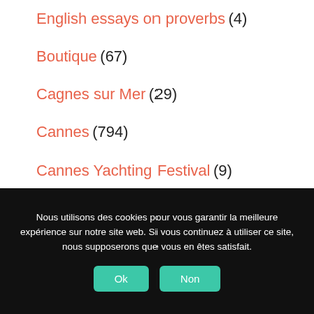English essays on proverbs (4)
Boutique (67)
Cagnes sur Mer (29)
Cannes (794)
Cannes Yachting Festival (9)
Carpentras (2)
Nous utilisons des cookies pour vous garantir la meilleure expérience sur notre site web. Si vous continuez à utiliser ce site, nous supposerons que vous en êtes satisfait.